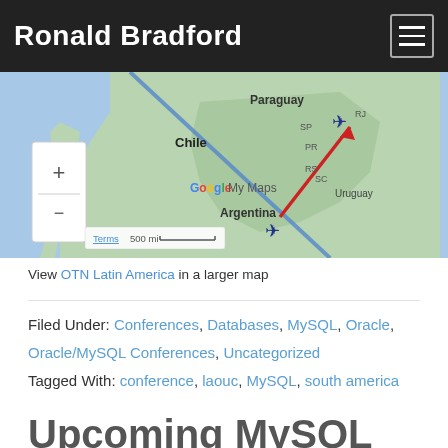Ronald Bradford
[Figure (map): Google My Maps showing South America with airplane icons and a red arrow flight path over Chile, Argentina, Uruguay, Paraguay, Brazil regions]
View OTN Latin America in a larger map
Filed Under: Conferences, Databases, MySQL, Oracle, Oracle/MySQL Conferences, Uncategorized
Tagged With: conference, laouc, MySQL, south america
Upcoming MySQL